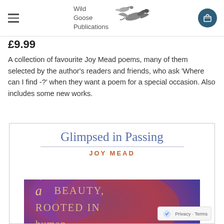Wild Goose Publications
£9.99
A collection of favourite Joy Mead poems, many of them selected by the author's readers and friends, who ask 'Where can I find -?' when they want a poem for a special occasion. Also includes some new works.
[Figure (illustration): Book cover for 'Glimpsed in Passing' by Joy Mead, showing title in blue-grey serif font, author name in terracotta spaced capitals, and an artwork image with calligraphic text reading 'a sense of beauty rooted in human' on a colourful painted background.]